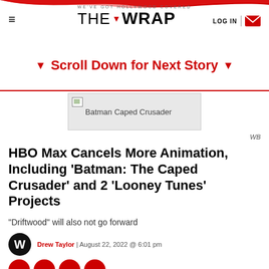WE'VE GOT HOLLYWOOD COVERED | THE WRAP | LOG IN
▼ Scroll Down for Next Story ▼
[Figure (photo): Batman Caped Crusader image placeholder with broken image icon]
WB
HBO Max Cancels More Animation, Including 'Batman: The Caped Crusader' and 2 'Looney Tunes' Projects
"Driftwood" will also not go forward
Drew Taylor | August 22, 2022 @ 6:01 pm